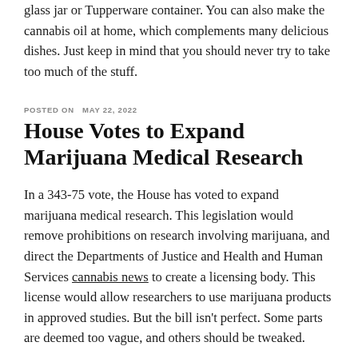glass jar or Tupperware container. You can also make the cannabis oil at home, which complements many delicious dishes. Just keep in mind that you should never try to take too much of the stuff.
POSTED ON MAY 22, 2022
House Votes to Expand Marijuana Medical Research
In a 343-75 vote, the House has voted to expand marijuana medical research. This legislation would remove prohibitions on research involving marijuana, and direct the Departments of Justice and Health and Human Services cannabis news to create a licensing body. This license would allow researchers to use marijuana products in approved studies. But the bill isn't perfect. Some parts are deemed too vague, and others should be tweaked.